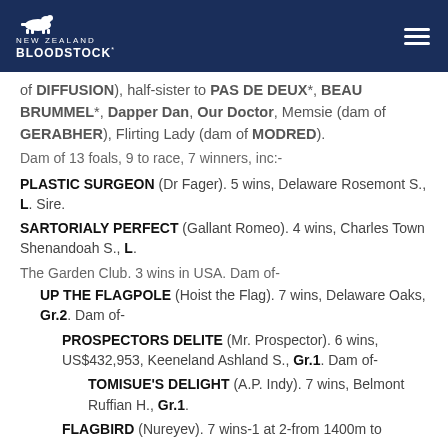NEW ZEALAND BLOODSTOCK
of DIFFUSION), half-sister to PAS DE DEUX*, BEAU BRUMMEL*, Dapper Dan, Our Doctor, Memsie (dam of GERABHER), Flirting Lady (dam of MODRED).
Dam of 13 foals, 9 to race, 7 winners, inc:-
PLASTIC SURGEON (Dr Fager). 5 wins, Delaware Rosemont S., L. Sire.
SARTORIALY PERFECT (Gallant Romeo). 4 wins, Charles Town Shenandoah S., L.
The Garden Club. 3 wins in USA. Dam of-
UP THE FLAGPOLE (Hoist the Flag). 7 wins, Delaware Oaks, Gr.2. Dam of-
PROSPECTORS DELITE (Mr. Prospector). 6 wins, US$432,953, Keeneland Ashland S., Gr.1. Dam of-
TOMISUE'S DELIGHT (A.P. Indy). 7 wins, Belmont Ruffian H., Gr.1.
FLAGBIRD (Nureyev). 7 wins-1 at 2-from 1400m to